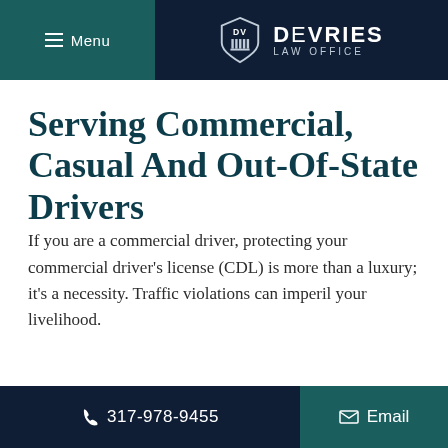Menu | DeVries Law Office
Serving Commercial, Casual And Out-Of-State Drivers
If you are a commercial driver, protecting your commercial driver's license (CDL) is more than a luxury; it's a necessity. Traffic violations can imperil your livelihood.
317-978-9455 | Email